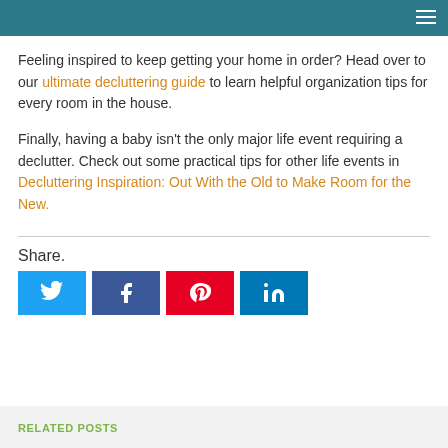Feeling inspired to keep getting your home in order? Head over to our ultimate decluttering guide to learn helpful organization tips for every room in the house.
Finally, having a baby isn't the only major life event requiring a declutter. Check out some practical tips for other life events in Decluttering Inspiration: Out With the Old to Make Room for the New.
Share.
[Figure (other): Social media share buttons: Twitter (blue), Facebook (dark blue), Pinterest (red), LinkedIn (teal)]
RELATED POSTS